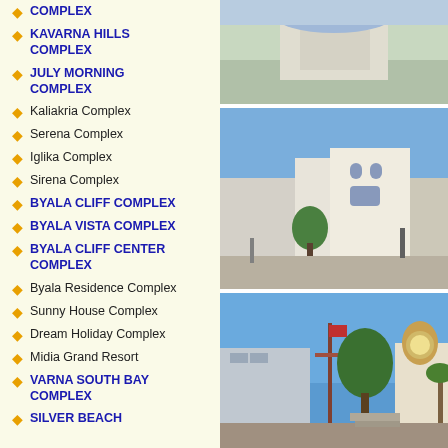COMPLEX
KAVARNA HILLS COMPLEX
JULY MORNING COMPLEX
Kaliakria Complex
Serena Complex
Iglika Complex
Sirena Complex
BYALA CLIFF COMPLEX
BYALA VISTA COMPLEX
BYALA CLIFF CENTER COMPLEX
Byala Residence Complex
Sunny House Complex
Dream Holiday Complex
Midia Grand Resort
VARNA SOUTH BAY COMPLEX
SILVER BEACH
[Figure (photo): Aerial or landscape photo, partially visible at top]
[Figure (photo): Street view of a white multi-story building with arched windows, street scene with pedestrians, cars, and trees in a Bulgarian town]
[Figure (photo): Coastal town scene with a palm tree, decorative clock tower, and buildings near the seafront in Bulgaria]